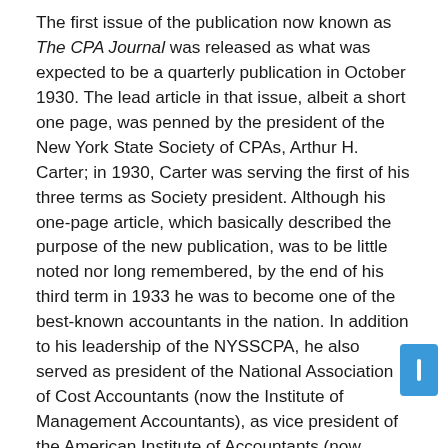The first issue of the publication now known as The CPA Journal was released as what was expected to be a quarterly publication in October 1930. The lead article in that issue, albeit a short one page, was penned by the president of the New York State Society of CPAs, Arthur H. Carter; in 1930, Carter was serving the first of his three terms as Society president. Although his one-page article, which basically described the purpose of the new publication, was to be little noted nor long remembered, by the end of his third term in 1933 he was to become one of the best-known accountants in the nation. In addition to his leadership of the NYSSCPA, he also served as president of the National Association of Cost Accountants (now the Institute of Management Accountants), as vice president of the American Institute of Accountants (now AICPA), and as president of the prestigious Accountants Club of America. At the same time, he was the firmwide managing partner of Haskins & Sells (now Deloitte), the largest CPA firm in the country and the oldest of the purely American CPA firms. In his third term as Society president, Colonel Carter, as he was known because of his Army rank during World War I, was asked to testify before a Senate committee regarding the need for